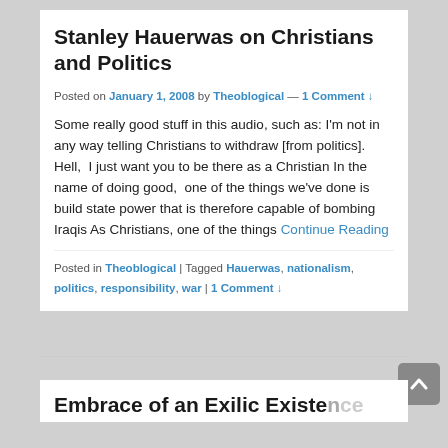Stanley Hauerwas on Christians and Politics
Posted on January 1, 2008 by Theoblogical — 1 Comment ↓
Some really good stuff in this audio, such as: I'm not in any way telling Christians to withdraw [from politics].  Hell,  I just want you to be there as a Christian In the name of doing good,  one of the things we've done is build state power that is therefore capable of bombing Iraqis As Christians, one of the things Continue Reading
Posted in Theoblogical | Tagged Hauerwas, nationalism, politics, responsibility, war | 1 Comment ↓
Embrace of an Exilic Existence